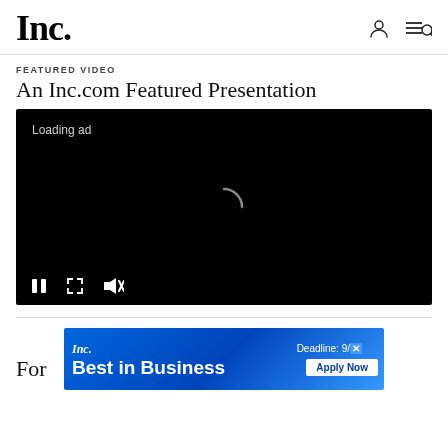Inc.
FEATURED VIDEO
An Inc.com Featured Presentation
[Figure (screenshot): Video player with black background showing 'Loading ad' text and a spinning loading indicator, with playback controls at the bottom (pause, fullscreen, mute buttons)]
[Figure (other): Inc. Best in Business advertisement banner with blue gradient background, showing 'Deadline: 9/1' and 'Apply Now' button]
For